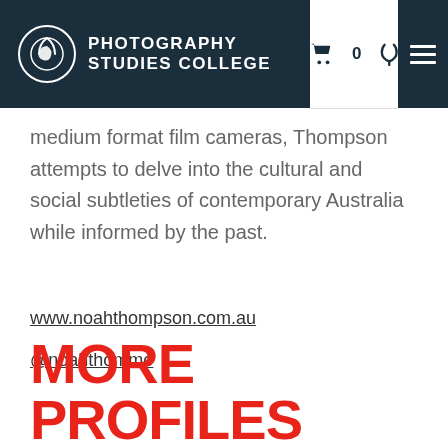PHOTOGRAPHY STUDIES COLLEGE
medium format film cameras, Thompson attempts to delve into the cultural and social subtleties of contemporary Australia while informed by the past.
www.noahthompson.com.au
@noahthommo
MORE PROFILES